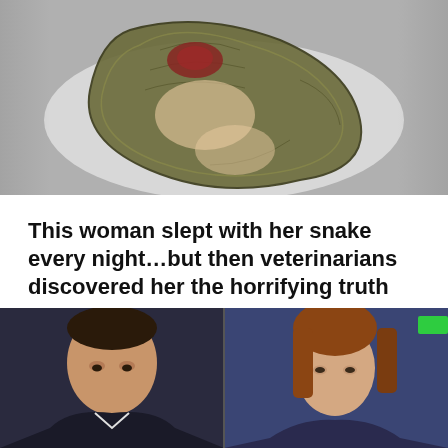[Figure (photo): A large snake coiled around a person lying on a bed with white sheets, viewed from above]
This woman slept with her snake every night…but then veterinarians discovered her the horrifying truth
31.05.2022  Vahram  Comment
Pets are part of the family. They are with us every day and they provide us with love and warmth. Some people even [...]
[Figure (photo): Two people side by side: a dark-haired man on the left and a young woman with reddish hair on the right, appears to be a TV show setting]